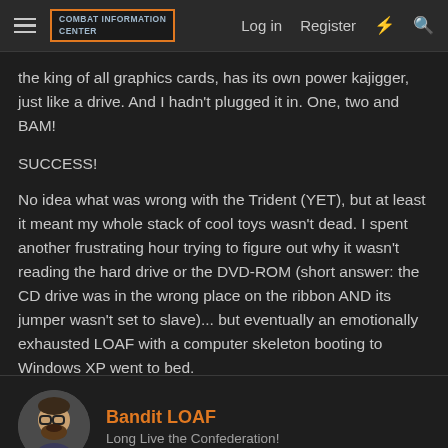COMBAT INFORMATION CENTER | Log in | Register
the king of all graphics cards, has its own power kajigger, just like a drive. And I hadn't plugged it in. One, two and BAM!
SUCCESS!
No idea what was wrong with the Trident (YET), but at least it meant my whole stack of cool toys wasn't dead. I spent another frustrating hour trying to figure out why it wasn't reading the hard drive or the DVD-ROM (short answer: the CD drive was in the wrong place on the ribbon AND its jumper wasn't set to slave)... but eventually an emotionally exhausted LOAF with a computer skeleton booting to Windows XP went to bed.
(I'll add some pictures tonight like in the old thread--I can't seem to offload them from my phone while I'm at work.)
Bandit LOAF
Long Live the Confederation!